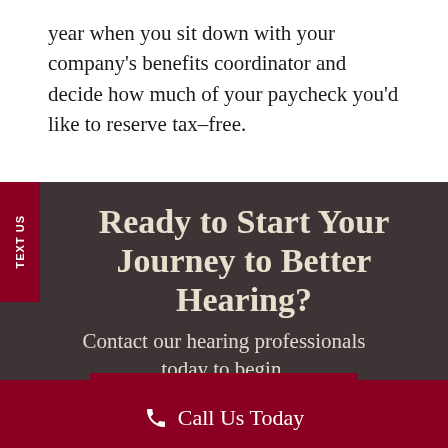year when you sit down with your company’s benefits coordinator and decide how much of your paycheck you’d like to reserve tax-free.
Ready to Start Your Journey to Better Hearing?
Contact our hearing professionals today to begin.
Call Us Today